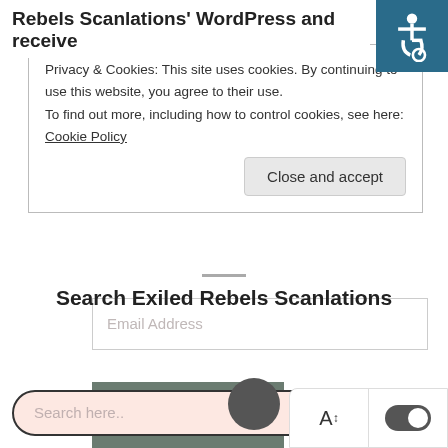Rebels Scanlations' WordPress and receive
Privacy & Cookies: This site uses cookies. By continuing to use this website, you agree to their use.
To find out more, including how to control cookies, see here: Cookie Policy
Close and accept
Email Address
Subscribe
Search Exiled Rebels Scanlations
Search here..